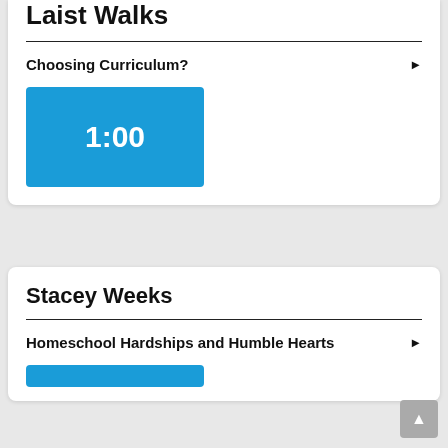Laist Walks
Choosing Curriculum?
[Figure (other): Blue button/thumbnail showing time 1:00]
Stacey Weeks
Homeschool Hardships and Humble Hearts
[Figure (other): Partial blue thumbnail at bottom]